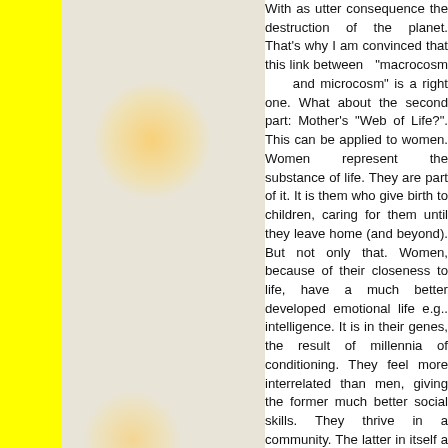With as utter consequence the destruction of the planet. That's why I am convinced that this link between "macrocosm and microcosm" is a right one. What about the second part: Mother's "Web of Life?". This can be applied to women. Women represent the substance of life. They are part of it. It is them who give birth to children, caring for them until they leave home (and beyond). But not only that. Women, because of their closeness to life, have a much better developed emotional life e.g.. intelligence. It is in their genes, the result of millennia of conditioning. They feel more interrelated than men, giving the former much better social skills. They thrive in a community. The latter in itself a reflection of Mother's Web! Although every human being is different with